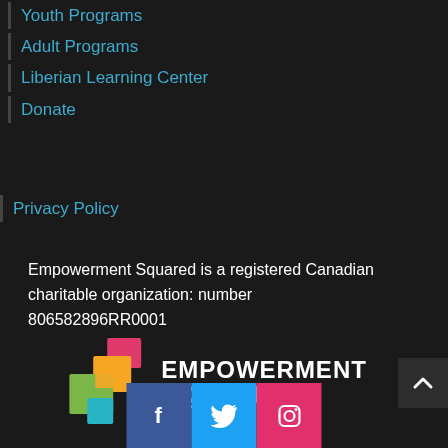Youth Programs
Adult Programs
Liberian Learning Center
Donate
Privacy Policy
Empowerment Squared is a registered Canadian charitable organization: number 806582896RR0001
[Figure (logo): Empowerment Squared logo with colorful overlapping squares and bold white text]
[Figure (infographic): Social media icons: Facebook (blue), Twitter (cyan), Instagram (pink)]